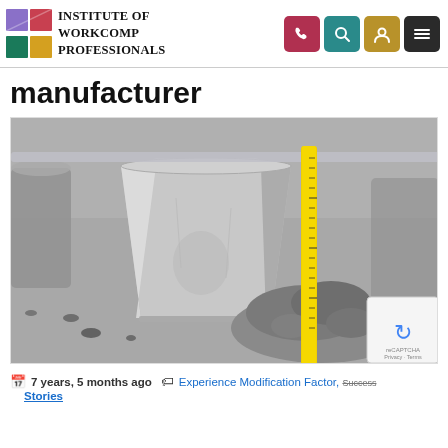Institute of WorkComp Professionals
manufacturer
[Figure (photo): A metallic conical slump test cone with a yellow measuring tape standing upright next to a mound of wet concrete/cement on a construction site floor.]
7 years, 5 months ago   Experience Modification Factor, Success Stories